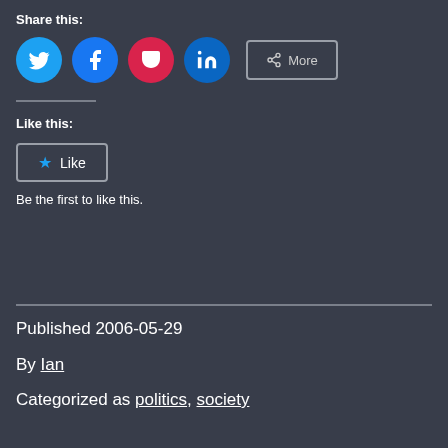Share this:
[Figure (other): Social share buttons: Twitter (blue circle), Facebook (blue circle), Pocket (red circle), LinkedIn (blue circle), and a More button]
Like this:
[Figure (other): A Like button with star icon]
Be the first to like this.
Published 2006-05-29
By Ian
Categorized as politics, society